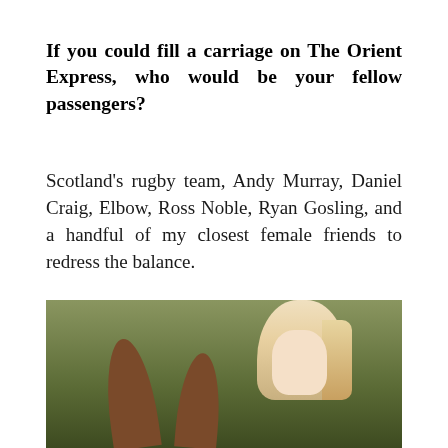If you could fill a carriage on The Orient Express, who would be your fellow passengers?
Scotland's rugby team, Andy Murray, Daniel Craig, Elbow, Ross Noble, Ryan Gosling, and a handful of my closest female friends to redress the balance.
[Figure (photo): A photograph showing the ears of a brown horse in the foreground with a blonde woman visible behind/beside the horse, set against a green leafy background.]